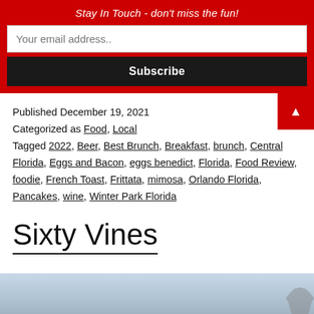Stay In Touch - don't miss the fun!
Published December 19, 2021
Categorized as Food, Local
Tagged 2022, Beer, Best Brunch, Breakfast, brunch, Central Florida, Eggs and Bacon, eggs benedict, Florida, Food Review, foodie, French Toast, Frittata, mimosa, Orlando Florida, Pancakes, wine, Winter Park Florida
Sixty Vines
[Figure (photo): Partial bottom image, appears to be an outdoor/nature scene, mostly cropped out]